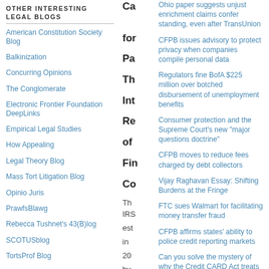OTHER INTERESTING LEGAL BLOGS
American Constitution Society Blog
Balkinization
Concurring Opinions
The Conglomerate
Electronic Frontier Foundation DeepLinks
Empirical Legal Studies
How Appealing
Legal Theory Blog
Mass Tort Litigation Blog
Opinio Juris
PrawfsBlawg
Rebecca Tushnet's 43(B)log
SCOTUSblog
TortsProf Blog
Trademark Blog
Ohio paper suggests unjust enrichment claims confer standing, even after TransUnion
CFPB issues advisory to protect privacy when companies compile personal data
Regulators fine BofA $225 million over botched disbursement of unemployment benefits
Consumer protection and the Supreme Court's new "major questions doctrine"
CFPB moves to reduce fees charged by debt collectors
Vijay Raghavan Essay: Shifting Burdens at the Fringe
FTC sues Walmart for facilitating money transfer fraud
CFPB affirms states' ability to police credit reporting markets
Can you solve the mystery of why the Credit CARD Act treats penalty fees differently from penalty interest rates and other fees?
CFPB Spring Regulatory Agenda is...